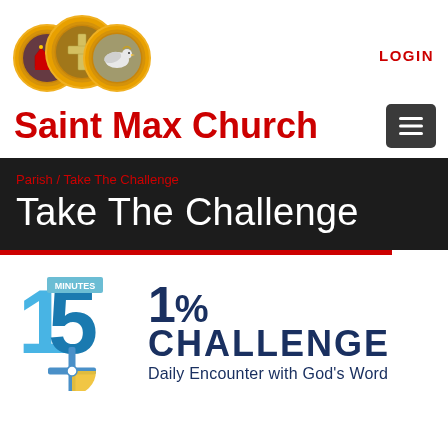[Figure (logo): Saint Max Church logo — three circular stained glass symbols in gold rings (crown, cross, dove) arranged horizontally]
LOGIN
Saint Max Church
[Figure (other): Hamburger menu button (three horizontal lines) on dark square background]
Parish / Take The Challenge
Take The Challenge
[Figure (logo): 15 Minutes 1% Challenge — Daily Encounter with God's Word logo. Shows a large stylized '15' in blue/cyan gradient with 'MINUTES' label and a cross/compass rose icon. Next to it: '1% CHALLENGE' in large dark navy bold text, with 'Daily Encounter with God's Word' subtitle.]